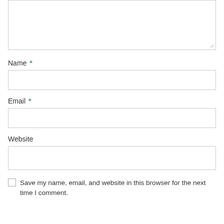[Figure (screenshot): A textarea input field with a resize handle at the bottom-right corner, partially visible at the top of the page.]
Name *
[Figure (screenshot): A single-line text input box for Name field.]
Email *
[Figure (screenshot): A single-line text input box for Email field.]
Website
[Figure (screenshot): A single-line text input box for Website field.]
Save my name, email, and website in this browser for the next time I comment.